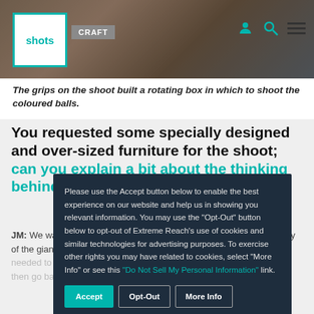shots | CRAFT
The grips on the shoot built a rotating box in which to shoot the coloured balls.
You requested some specially designed and over-sized furniture for the shoot; can you explain a bit about the thinking behind that approach?
JM: We wanted to create an illusion, a trick of the eye, that the fantasy of the giantess relied on a very specific scale of the furniture that needed to be perfect – and a little bit cool to turn it on its head and then go back to those changing perspectives, going from macro
Please use the Accept button below to enable the best experience on our website and help us in showing you relevant information. You may use the "Opt-Out" button below to opt-out of Extreme Reach's use of cookies and similar technologies for advertising purposes. To exercise other rights you may have related to cookies, select "More Info" or see this "Do Not Sell My Personal Information" link.